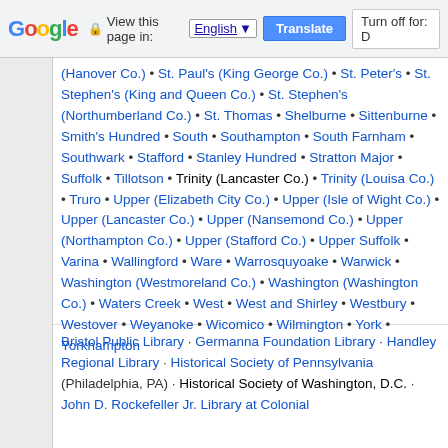Google | View this page in: English | Translate | Turn off for: D
(Hanover Co.) • St. Paul's (King George Co.) • St. Peter's • St. Stephen's (King and Queen Co.) • St. Stephen's (Northumberland Co.) • St. Thomas • Shelburne • Sittenburne • Smith's Hundred • South • Southampton • South Farnham • Southwark • Stafford • Stanley Hundred • Stratton Major • Suffolk • Tillotson • Trinity (Lancaster Co.) • Trinity (Louisa Co.) • Truro • Upper (Elizabeth City Co.) • Upper (Isle of Wight Co.) • Upper (Lancaster Co.) • Upper (Nansemond Co.) • Upper (Northampton Co.) • Upper (Stafford Co.) • Upper Suffolk • Varina • Wallingford • Ware • Warrosquyoake • Warwick • Washington (Westmoreland Co.) • Washington (Washington Co.) • Waters Creek • West • West and Shirley • Westbury • Westover • Weyanoke • Wicomico • Wilmington • York • Yorkhampton
Bristol Public Library · Germanna Foundation Library · Handley Regional Library · Historical Society of Pennsylvania (Philadelphia, PA) · Historical Society of Washington, D.C. · John D. Rockefeller Jr. Library at Colonial